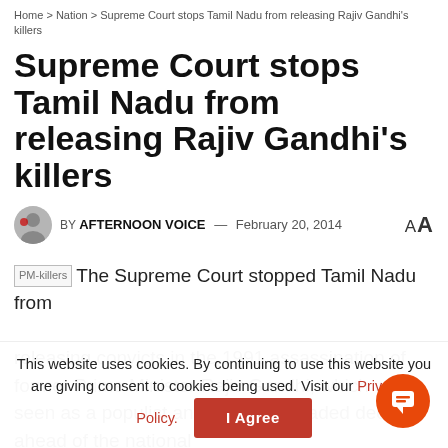Home > Nation > Supreme Court stops Tamil Nadu from releasing Rajiv Gandhi's killers
Supreme Court stops Tamil Nadu from releasing Rajiv Gandhi's killers
BY AFTERNOON VOICE — February 20, 2014
The Supreme Court stopped Tamil Nadu from releasing convicts in the 1991 assassination of former Prime Minister Rajiv Gandhi, which was seen as a populist and politically-loaded decision ahead of the national
This website uses cookies. By continuing to use this website you are giving consent to cookies being used. Visit our Privacy and Cookie Policy.